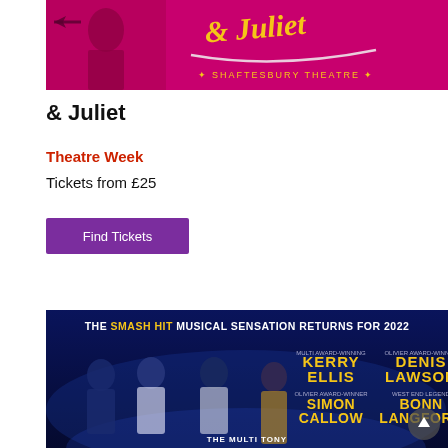[Figure (photo): & Juliet musical poster at Shaftesbury Theatre — pink background with performer in red, gold stylized text '& Juliet', stars and 'Shaftesbury Theatre' text]
& Juliet
Theatre Week
Tickets from £25
Find Tickets
[Figure (photo): The Smash Hit Musical Sensation Returns for 2022 — blue background, cast photo featuring Kerry Ellis, Denis Lawson, Simon Callow, Bonnie Langford, The Multi Tony text at bottom]